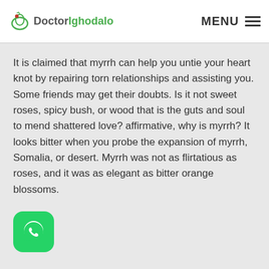Doctor Ighodalo | MENU
It is claimed that myrrh can help you untie your heart knot by repairing torn relationships and assisting you. Some friends may get their doubts. Is it not sweet roses, spicy bush, or wood that is the guts and soul to mend shattered love? affirmative, why is myrrh? It looks bitter when you probe the expansion of myrrh, Somalia, or desert. Myrrh was not as flirtatious as roses, and it was as elegant as bitter orange blossoms.
[Figure (logo): WhatsApp button icon at bottom left]